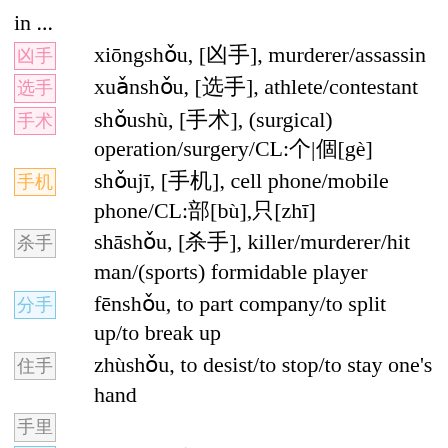in ...
凶手 xiōngshǒu, [凶手], murderer/assassin
选手 xuǎnshǒu, [选手], athlete/contestant
手术 shǒushù, [手术], (surgical) operation/surgery/CL:个|個[gè]
手机 shǒujī, [手机], cell phone/mobile phone/CL:部[bù],只[zhī]
杀手 shāshǒu, [杀手], killer/murderer/hit man/(sports) formidable player
分手 fēnshǒu, to part company/to split up/to break up
住手 zhùshǒu, to desist/to stop/to stay one's hand
手里
手里 shǒulǐ, [手里], in hand/(a situation is) in sb's hands
歌手 gēshǒu, singer